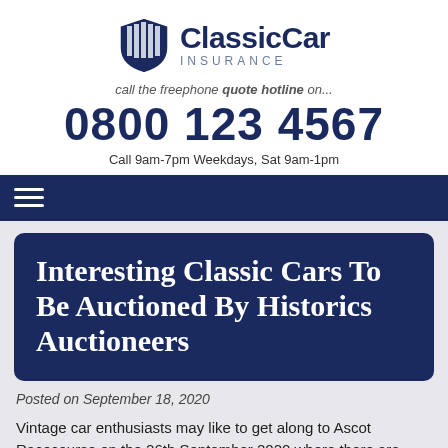[Figure (logo): Classic Car Insurance logo with shield emblem and stylized text]
call the freephone quote hotline on...
0800 123 4567
Call 9am-7pm Weekdays, Sat 9am-1pm
Interesting Classic Cars To Be Auctioned By Historics Auctioneers
Posted on September 18, 2020
Vintage car enthusiasts may like to get along to Ascot Racecourse on the 26th September 2020 where there are some interesting vehicles being auctioned by Historics Auctioneers. Full details can be found on their